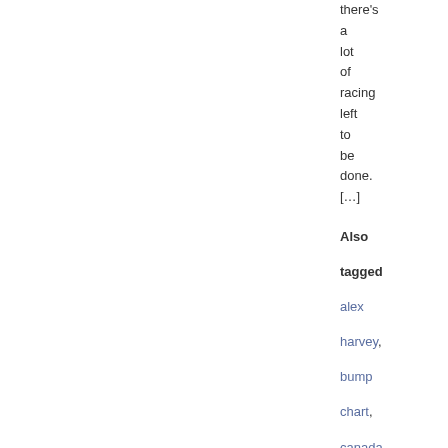there's a lot of racing left to be done. [...]
Also tagged alex harvey, bump chart, canada, ivan babikov, kikkan randall, kris freeman, recap,